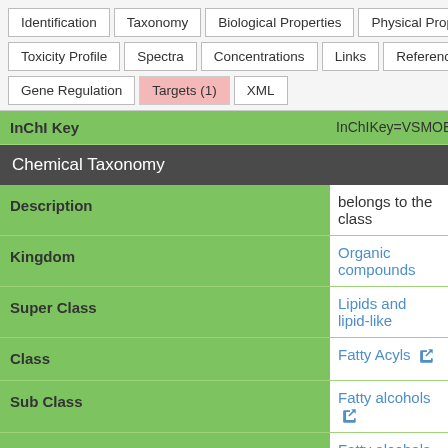| Tab |
| --- |
| Identification | Taxonomy | Biological Properties | Physical Properties |
| Toxicity Profile | Spectra | Concentrations | Links | References |
| Gene Regulation | Targets (1) | XML |
| Field | Value |
| --- | --- |
| InChI Key | InChIKey=VSMOEN... |
| Chemical Taxonomy |  |
| Description | belongs to the class... |
| Kingdom | Organic compounds |
| Super Class | Lipids and lipid-like |
| Class | Fatty Acyls |
| Sub Class | Fatty alcohols |
| Direct Parent | Fatty alcohols |
| Alternative Parents | Secondary al...
Hydrocarbon... |
| Substituents | Fatty alcohol
Secondary al... |